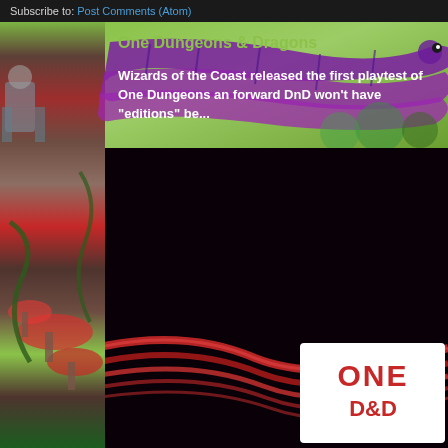Subscribe to: Post Comments (Atom)
[Figure (illustration): D&D themed illustrated background art with fantasy creatures on the left side, and a large purple/violet segmented worm or serpent creature on a green background in the upper portion]
One Dungeons & Dragons
Wizards of the Coast released the first playtest of One Dungeons and forward DnD won't have "editions" be...
[Figure (photo): Dark photograph with red swooping neon light streaks on a dark purple/black background, with a white box containing the red 'ONE D&D' logo text in the lower right corner]